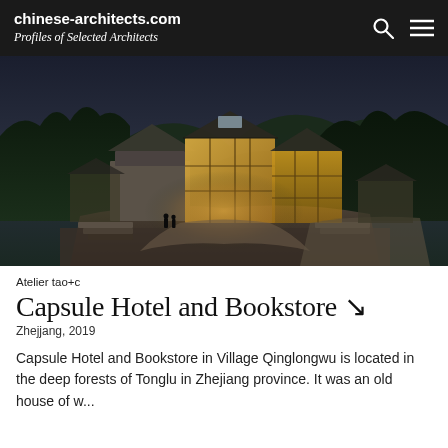chinese-architects.com
Profiles of Selected Architects
[Figure (photo): Aerial dusk photograph of a glass and stone Capsule Hotel and Bookstore building nestled among forested mountains in Village Qinglongwu, Tonglu, Zhejiang province, China. The building features large glass facades glowing warmly from interior lighting.]
Atelier tao+c
Capsule Hotel and Bookstore ↗
Zhejjang, 2019
Capsule Hotel and Bookstore in Village Qinglongwu is located in the deep forests of Tonglu in Zhejiang province. It was an old house of w...